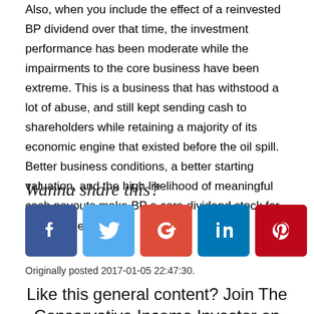Also, when you include the effect of a reinvested BP dividend over that time, the investment performance has been moderate while the impairments to the core business have been extreme. This is a business that has withstood a lot of abuse, and still kept sending cash to shareholders while retaining a majority of its economic engine that existed before the oil spill. Better business conditions, a better starting valuation, and the high likelihood of meaningful cash payouts make BP a core dividend stock for the next generation.
Wanna share this?
[Figure (infographic): Five social media share buttons: Facebook (blue), Twitter (light blue), Google+ (red), LinkedIn (dark blue), Pinterest (red)]
Originally posted 2017-01-05 22:47:30.
Like this general content? Join The Conservative Income Investor on Patreon for discussion of specific...